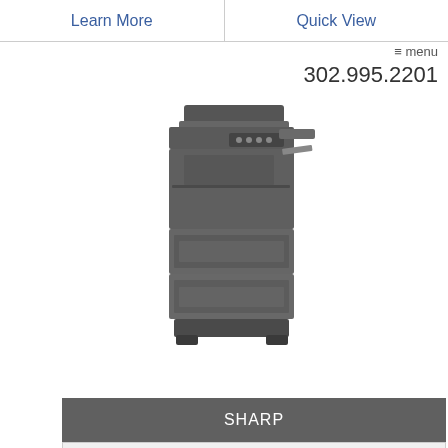| Learn More | Quick View |
| --- | --- |
≡ menu
302.995.2201
[Figure (photo): Sharp multifunction laser printer/copier, tall tower configuration, dark gray color]
| SHARP |
| --- |
| BP-70C31 |
| Learn More | Quick View |
| --- | --- |
BACK TO TOP ⊙
[Figure (photo): Sharp multifunction printer/copier, smaller desktop model, light gray and white color]